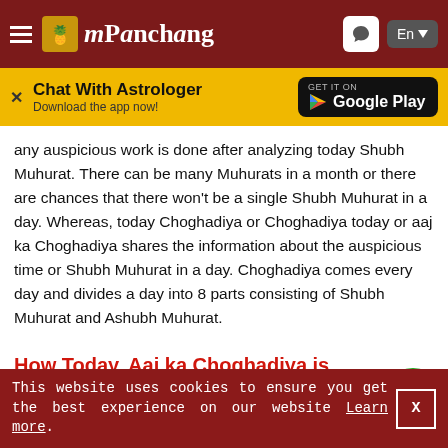mPanchang
Chat With Astrologer — Download the app now! GET IT ON Google Play
any auspicious work is done after analyzing today Shubh Muhurat. There can be many Muhurats in a month or there are chances that there won't be a single Shubh Muhurat in a day. Whereas, today Choghadiya or Choghadiya today or aaj ka Choghadiya shares the information about the auspicious time or Shubh Muhurat in a day. Choghadiya comes every day and divides a day into 8 parts consisting of Shubh Muhurat and Ashubh Muhurat.
How Today, Aaj ka Choghadiya is Calculated?
This website uses cookies to ensure you get the best experience on our website Learn more.